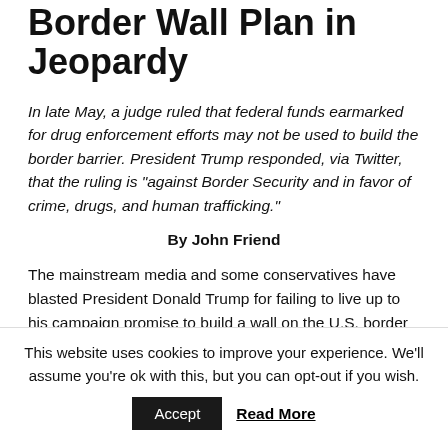Border Wall Plan in Jeopardy
In late May, a judge ruled that federal funds earmarked for drug enforcement efforts may not be used to build the border barrier. President Trump responded, via Twitter, that the ruling is “against Border Security and in favor of crime, drugs, and human trafficking.”
By John Friend
The mainstream media and some conservatives have blasted President Donald Trump for failing to live up to his campaign promise to build a wall on the U.S. border with Mexico. The problem is, Trump has tried on multiple occasions to move
This website uses cookies to improve your experience. We'll assume you're ok with this, but you can opt-out if you wish.
Accept
Read More